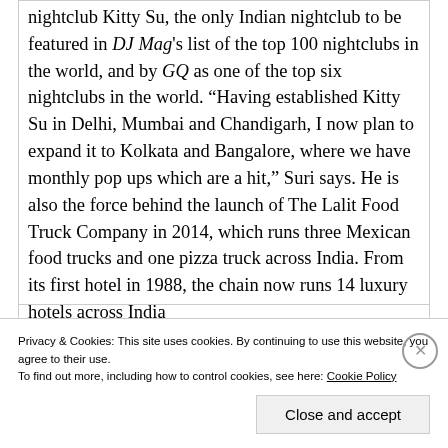nightclub Kitty Su, the only Indian nightclub to be featured in DJ Mag's list of the top 100 nightclubs in the world, and by GQ as one of the top six nightclubs in the world. “Having established Kitty Su in Delhi, Mumbai and Chandigarh, I now plan to expand it to Kolkata and Bangalore, where we have monthly pop ups which are a hit,” Suri says. He is also the force behind the launch of The Lalit Food Truck Company in 2014, which runs three Mexican food trucks and one pizza truck across India. From its first hotel in 1988, the chain now runs 14 luxury hotels across India
Privacy & Cookies: This site uses cookies. By continuing to use this website, you agree to their use.
To find out more, including how to control cookies, see here: Cookie Policy